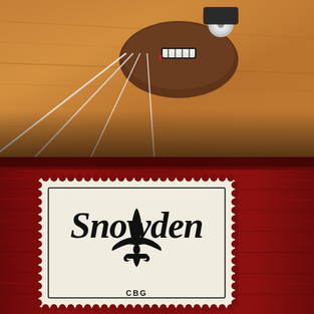[Figure (photo): Close-up photo of a guitar bridge and strings on a warm honey-colored wooden guitar body. The bridge/nut is dark brown wood with a black and white saddle, and a chrome tuning machine is visible at the top right. Four strings run diagonally from upper left to lower right across the cedar/spruce top.]
[Figure (photo): Close-up photo of the inside label of a Snowden CBG (cigar box guitar). The label is cream/off-white with a decorative scalloped/stamp-like border, set against deep red painted wood. The label reads 'Snowden' in elegant script lettering, below which is a fleur-de-lis symbol, and at the bottom 'CBG' in small capital letters.]